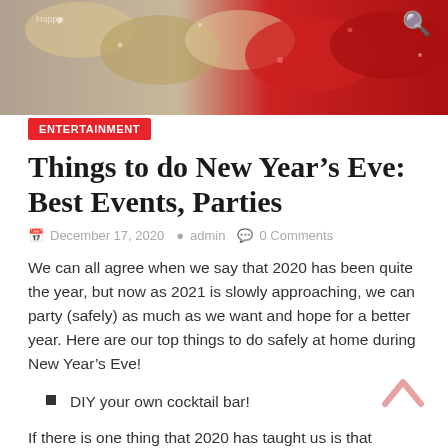[Figure (photo): Festive New Year decoration photo showing tinsel and red decorations with a person in the background]
ENTERTAINMENT
Things to do New Year's Eve: Best Events, Parties
December 17, 2020  admin  0 Comments
We can all agree when we say that 2020 has been quite the year, but now as 2021 is slowly approaching, we can party (safely) as much as we want and hope for a better year. Here are our top things to do safely at home during New Year's Eve!
DIY your own cocktail bar!
If there is one thing that 2020 has taught us is that